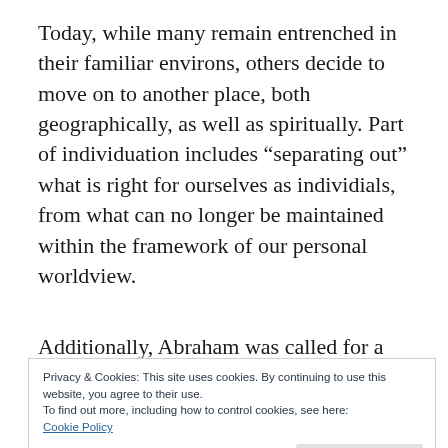Today, while many remain entrenched in their familiar environs, others decide to move on to another place, both geographically, as well as spiritually. Part of individuation includes “separating out” what is right for ourselves as individials, from what can no longer be maintained within the framework of our personal worldview.
Additionally, Abraham was called for a specific
Privacy & Cookies: This site uses cookies. By continuing to use this website, you agree to their use.
To find out more, including how to control cookies, see here:
Cookie Policy
judaism, teaches that every individual has a